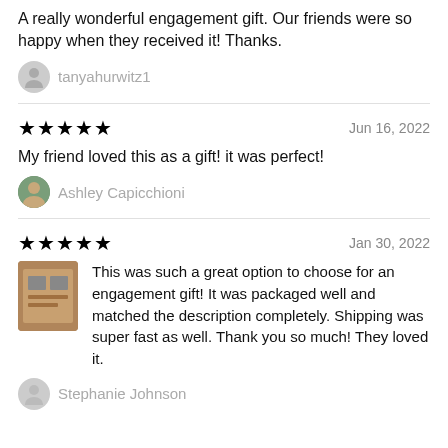A really wonderful engagement gift. Our friends were so happy when they received it! Thanks.
tanyahurwitz1
★★★★★   Jun 16, 2022
My friend loved this as a gift! it was perfect!
Ashley Capicchioni
★★★★★   Jan 30, 2022
This was such a great option to choose for an engagement gift! It was packaged well and matched the description completely. Shipping was super fast as well. Thank you so much! They loved it.
Stephanie Johnson